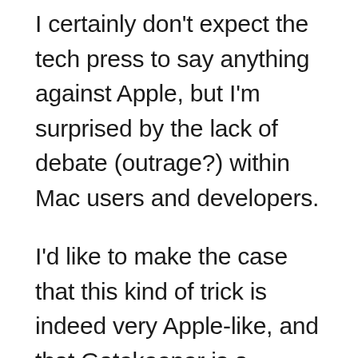I certainly don't expect the tech press to say anything against Apple, but I'm surprised by the lack of debate (outrage?) within Mac users and developers.
I'd like to make the case that this kind of trick is indeed very Apple-like, and that Gatekeeper is a reason for concern.
The Total Apple